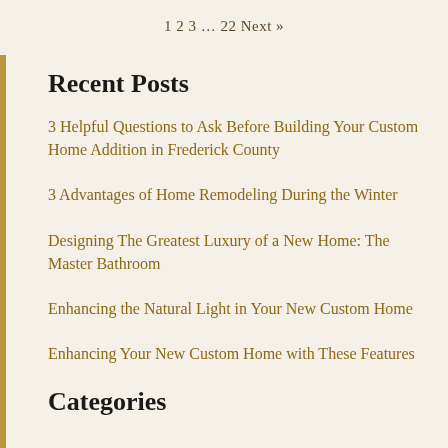1 2 3 … 22 Next »
Recent Posts
3 Helpful Questions to Ask Before Building Your Custom Home Addition in Frederick County
3 Advantages of Home Remodeling During the Winter
Designing The Greatest Luxury of a New Home: The Master Bathroom
Enhancing the Natural Light in Your New Custom Home
Enhancing Your New Custom Home with These Features
Categories